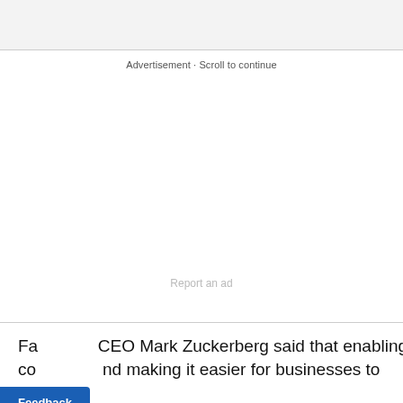Advertisement · Scroll to continue
[Figure (other): Advertisement placeholder with 'Report an ad' link]
Facebook CEO Mark Zuckerberg said that enabling co... nd making it easier for businesses to